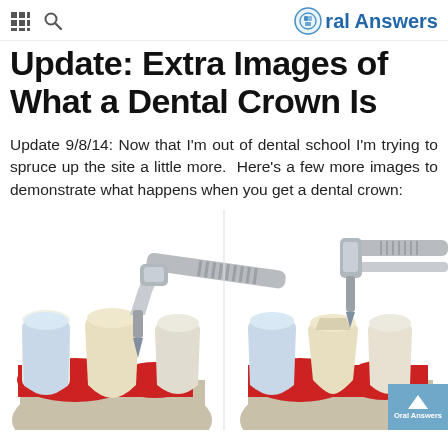Oral Answers
Update: Extra Images of What a Dental Crown Is
Update 9/8/14: Now that I'm out of dental school I'm trying to spruce up the site a little more. Here's a few more images to demonstrate what happens when you get a dental crown:
[Figure (illustration): Medical illustration showing dental crown procedure steps: two views of teeth being prepared and fitted with dental crowns, with dental drill tools shown approaching teeth. Shows cross-section of gum tissue in red with tooth roots visible.]
Oral Answers